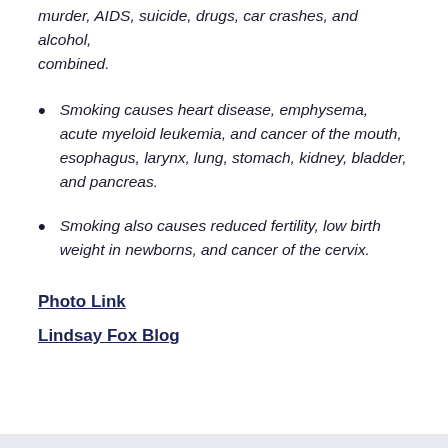murder, AIDS, suicide, drugs, car crashes, and alcohol, combined.
Smoking causes heart disease, emphysema, acute myeloid leukemia, and cancer of the mouth, esophagus, larynx, lung, stomach, kidney, bladder, and pancreas.
Smoking also causes reduced fertility, low birth weight in newborns, and cancer of the cervix.
Photo Link
Lindsay Fox Blog